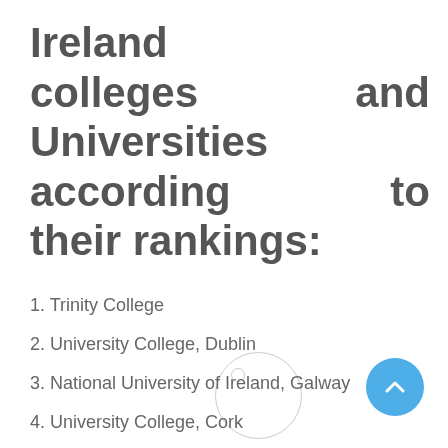Ireland colleges and Universities according to their rankings:
1. Trinity College
2. University College, Dublin
3. National University of Ireland, Galway
4. University College, Cork
5. Dublin City University
6. University of Limerick
7. Maynooth University